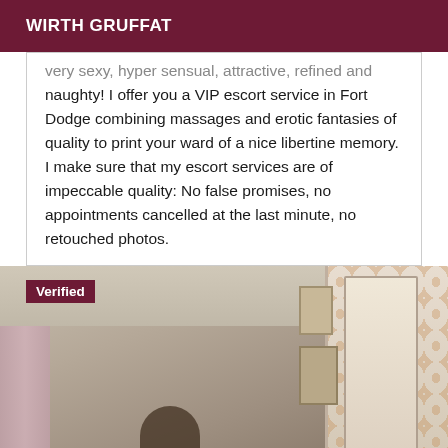WIRTH GRUFFAT
very sexy, hyper sensual, attractive, refined and naughty! I offer you a VIP escort service in Fort Dodge combining massages and erotic fantasies of quality to print your ward of a nice libertine memory. I make sure that my escort services are of impeccable quality: No false promises, no appointments cancelled at the last minute, no retouched photos.
[Figure (photo): Interior room photo with a 'Verified' badge overlay in dark red at top left. Room shows walls, a door frame, picture frames on the wall, curtains on the left, wallpaper pattern on the right, and a dark figure silhouette at the bottom center.]